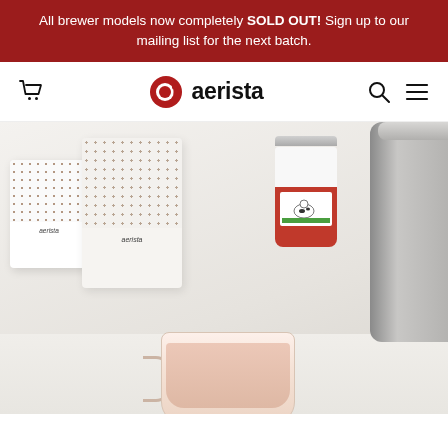All brewer models now completely SOLD OUT! Sign up to our mailing list for the next batch.
[Figure (screenshot): Aerista website navigation bar with cart icon on left, Qi aerista logo in center, search and hamburger menu icons on right]
[Figure (photo): Hero product photo showing Aerista branded coffee/tea packaging boxes on left, a condensed milk can and grey brewer appliance on right, and a cup of milky tea/coffee in foreground, all on a white surface]